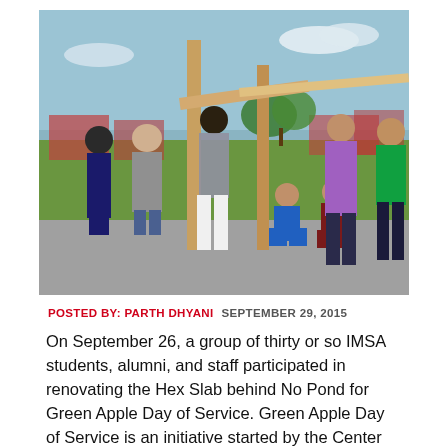[Figure (photo): Outdoor group photo of approximately thirty IMSA students, alumni, and staff working together at the Hex Slab renovation site. Several people are standing around wooden posts while others kneel on the ground working. Background shows green grass, trees, and brick buildings under a partly cloudy sky.]
POSTED BY: PARTH DHYANI   SEPTEMBER 29, 2015
On September 26, a group of thirty or so IMSA students, alumni, and staff participated in renovating the Hex Slab behind No Pond for Green Apple Day of Service. Green Apple Day of Service is an initiative started by the Center for